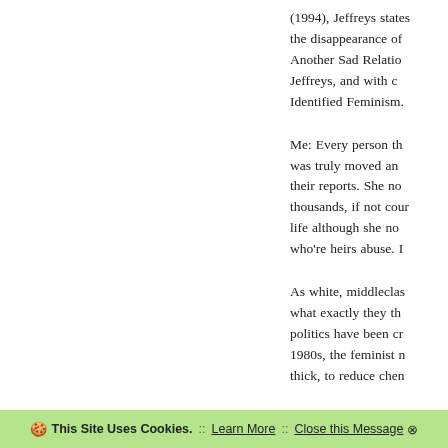(1994), Jeffreys states the disappearance of Another Sad Relatio Jeffreys, and with d Identified Feminism.
Me: Every person th was truly moved an their reports. She no thousands, if not cour life although she no who're heirs abuse. I
As white, middleclas what exactly they th politics have been cr 1980s, the feminist n thick, to reduce chen
🍪 This Site Uses Cookies.  ::  Learn More  ::  Close this Message ⊗